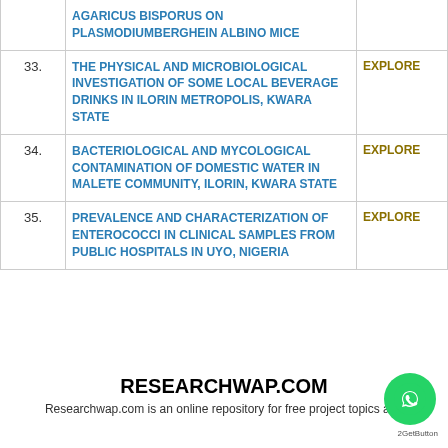| # | Title | Action |
| --- | --- | --- |
|  | AGARICUS BISPORUS ON PLASMODIUMBERGHEIN ALBINO MICE |  |
| 33. | THE PHYSICAL AND MICROBIOLOGICAL INVESTIGATION OF SOME LOCAL BEVERAGE DRINKS IN ILORIN METROPOLIS, KWARA STATE | EXPLORE |
| 34. | BACTERIOLOGICAL AND MYCOLOGICAL CONTAMINATION OF DOMESTIC WATER IN MALETE COMMUNITY, ILORIN, KWARA STATE | EXPLORE |
| 35. | PREVALENCE AND CHARACTERIZATION OF ENTEROCOCCI IN CLINICAL SAMPLES FROM PUBLIC HOSPITALS IN UYO, NIGERIA | EXPLORE |
RESEARCHWAP.COM
Researchwap.com is an online repository for free project topics and